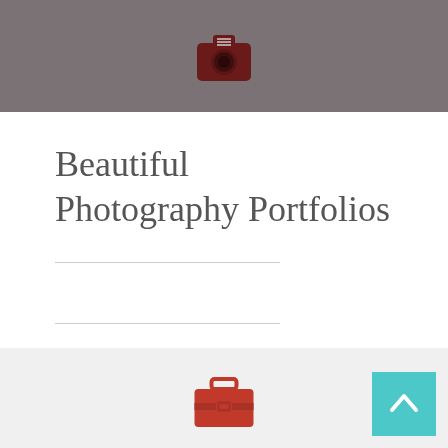Beautiful Photography Portfolios
[Figure (illustration): Red camera icon with menu lines]
[Figure (illustration): Red briefcase/portfolio icon]
[Figure (illustration): Teal scroll-to-top button with upward chevron arrow]